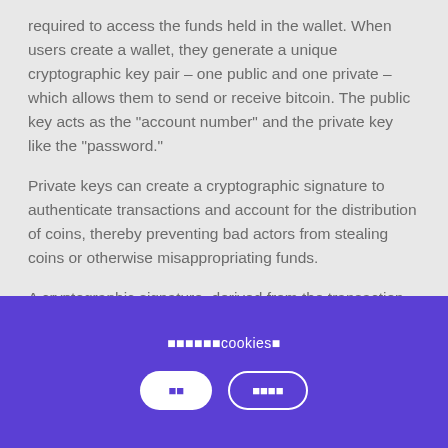required to access the funds held in the wallet. When users create a wallet, they generate a unique cryptographic key pair – one public and one private – which allows them to send or receive bitcoin. The public key acts as the "account number" and the private key like the "password."
Private keys can create a cryptographic signature to authenticate transactions and account for the distribution of coins, thereby preventing bad actors from stealing coins or otherwise misappropriating funds.
A cryptographic signature, derived from the transaction details and the private key, is required to
🔲🔲🔲🔲🔲🔲cookies🔲
🔲🔲
🔲🔲🔲🔲